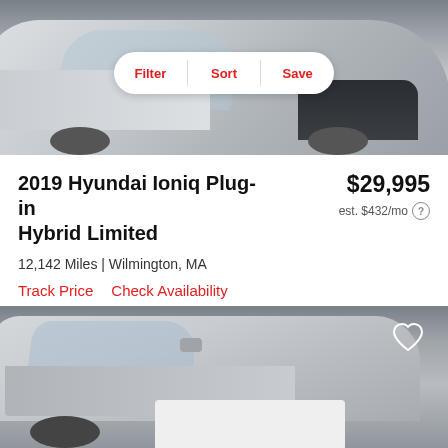[Figure (photo): Silver Hyundai Ioniq Plug-in Hybrid parked in a dealership lot, front/side view from above, with a Filter/Sort/Save toolbar overlay at the top]
2019 Hyundai Ioniq Plug-in Hybrid Limited
$29,995
est. $432/mo
12,142 Miles | Wilmington, MA
Track Price   Check Availability
[Figure (photo): Silver sedan (Hyundai) photographed from the side at a dealership, with a heart/save icon in the top-right corner]